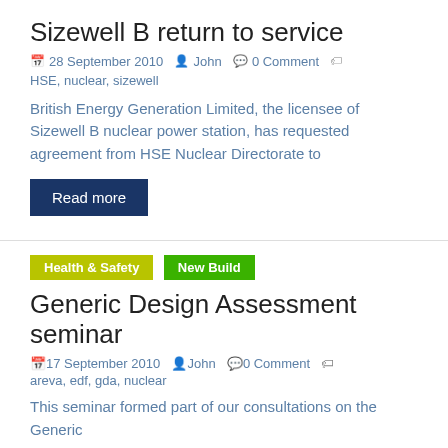Sizewell B return to service
28 September 2010  John  0 Comment  HSE, nuclear, sizewell
British Energy Generation Limited, the licensee of Sizewell B nuclear power station, has requested agreement from HSE Nuclear Directorate to
Read more
Health & Safety  New Build
Generic Design Assessment seminar
17 September 2010  John  0 Comment  areva, edf, gda, nuclear
This seminar formed part of our consultations on the Generic